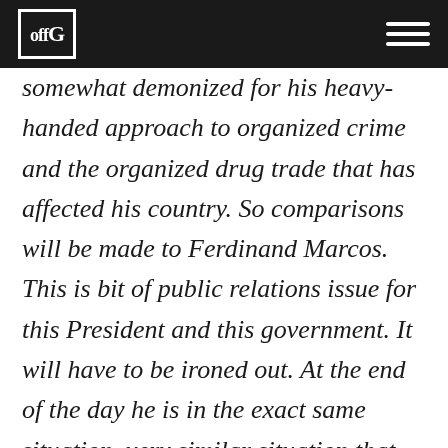offG
somewhat demonized for his heavy-handed approach to organized crime and the organized drug trade that has affected his country. So comparisons will be made to Ferdinand Marcos. This is bit of public relations issue for this President and this government. It will have to be ironed out. At the end of the day he is in the exact same situation, very similar situation that Bashar Assad in Syria was in early on in the sort of